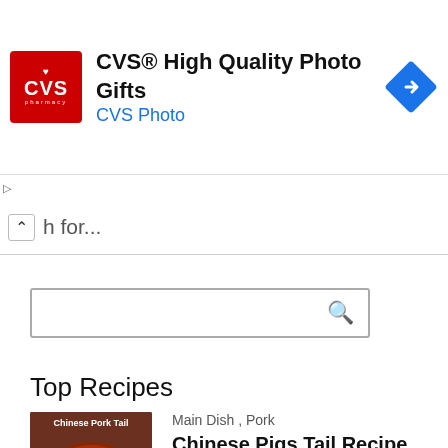[Figure (other): CVS Pharmacy advertisement banner with red CVS logo, text 'CVS® High Quality Photo Gifts', 'CVS Photo', and blue diamond arrow icon]
▷
✕
h for...
[Figure (other): Search input box with magnifying glass icon]
Top Recipes
[Figure (photo): Chinese Pork Tail dish thumbnail image]
Main Dish , Pork
Chinese Pigs Tail Recipe
[Figure (photo): How to Velvet Beef Chinese Stir Fry dish thumbnail image]
Beef , Main Dish
How to Velvet Beef Chinese Stir Fry
Privacy & Cookies Policy